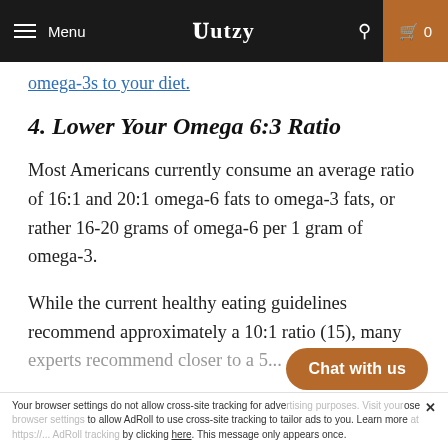Menu | Hutzy | [search] | Cart 0
omega-3s to your diet.
4. Lower Your Omega 6:3 Ratio
Most Americans currently consume an average ratio of 16:1 and 20:1 omega-6 fats to omega-3 fats, or rather 16-20 grams of omega-6 per 1 gram of omega-3.
While the current healthy eating guidelines recommend approximately a 10:1 ratio (15), many experts recommend closer to a...
Your browser settings do not allow cross-site tracking for advertising purposes. Visit your browser settings to allow AdRoll to use cross-site tracking to tailor ads to you. Learn more at https://www.adroll.com/rollads/adroll-tracking by clicking here. This message only appears once.